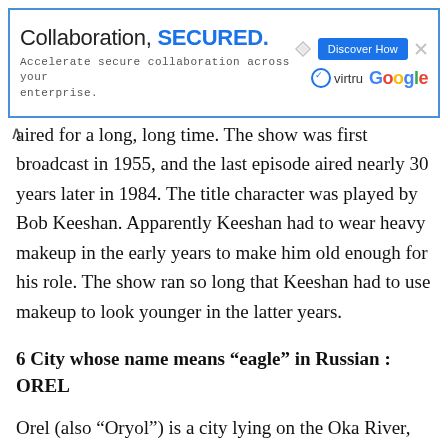[Figure (other): Advertisement banner for Virtru and Google collaboration security product. Text: 'Collaboration, SECURED. Accelerate secure collaboration across your enterprise.' with a 'Discover How' button and Virtru/Google logos.]
aired for a long, long time. The show was first broadcast in 1955, and the last episode aired nearly 30 years later in 1984. The title character was played by Bob Keeshan. Apparently Keeshan had to wear heavy makeup in the early years to make him old enough for his role. The show ran so long that Keeshan had to use makeup to look younger in the latter years.
6 City whose name means “eagle” in Russian : OREL
Orel (also “Oryol”) is a city lying on the Oka River, just over 200 miles SSW of Moscow. Orel was one of the cities occupied by Germany during WWII. It was liberated in 1943, but had been almost completely